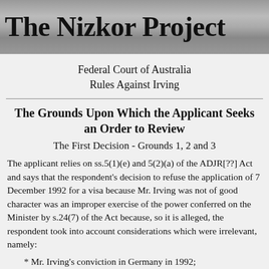The Nizkor Project
Federal Court of Australia
Rules Against Irving
The Grounds Upon Which the Applicant Seeks an Order to Review
The First Decision - Grounds 1, 2 and 3
The applicant relies on ss.5(1)(e) and 5(2)(a) of the ADJR[??] Act and says that the respondent's decision to refuse the application of 7 December 1992 for a visa because Mr. Irving was not of good character was an improper exercise of the power conferred on the Minister by s.24(7) of the Act because, so it is alleged, the respondent took into account considerations which were irrelevant, namely:
* Mr. Irving's conviction in Germany in 1992;